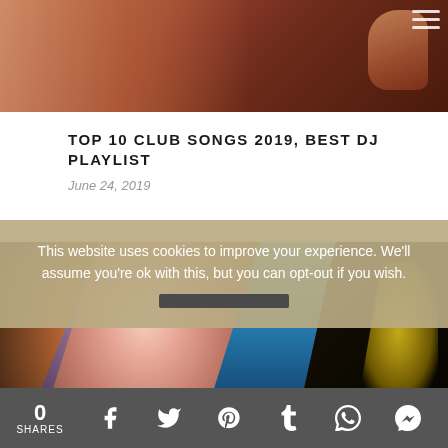[Figure (photo): Cropped top portion of a woman photo with warm skin tones and dark reddish-brown background, hamburger menu icon in top right]
TOP 10 CLUB SONGS 2019, BEST DJ PLAYLIST
June 24, 2019
[Figure (photo): Collage of three women: left panel shows warm-toned woman in dark background, center shows woman with purple/lavender hair and red lips against blue background, right panel shows dark background with yellow glow]
This website uses cookies to improve your experience. We'll assume you're ok with this, but you can opt-out if you wish.
0 SHARES [Facebook] [Twitter] [Pinterest] [Tumblr] [WhatsApp] [Messenger]